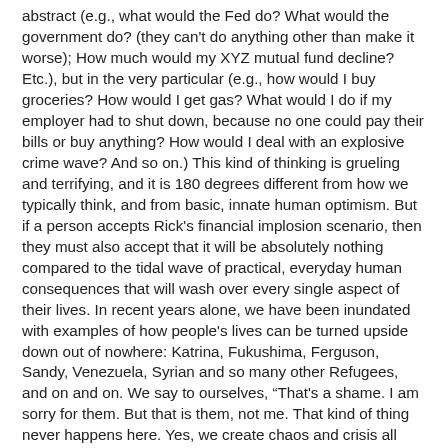abstract (e.g., what would the Fed do? What would the government do? (they can't do anything other than make it worse); How much would my XYZ mutual fund decline? Etc.), but in the very particular (e.g., how would I buy groceries? How would I get gas? What would I do if my employer had to shut down, because no one could pay their bills or buy anything? How would I deal with an explosive crime wave? And so on.) This kind of thinking is grueling and terrifying, and it is 180 degrees different from how we typically think, and from basic, innate human optimism. But if a person accepts Rick's financial implosion scenario, then they must also accept that it will be absolutely nothing compared to the tidal wave of practical, everyday human consequences that will wash over every single aspect of their lives. In recent years alone, we have been inundated with examples of how people's lives can be turned upside down out of nowhere: Katrina, Fukushima, Ferguson, Sandy, Venezuela, Syrian and so many other Refugees, and on and on. We say to ourselves, “That's a shame. I am sorry for them. But that is them, not me. That kind of thing never happens here. Yes, we create chaos and crisis all over the world, but crisis never comes to us, because we are the exceptional people who are forever insulated from generalized harm.”